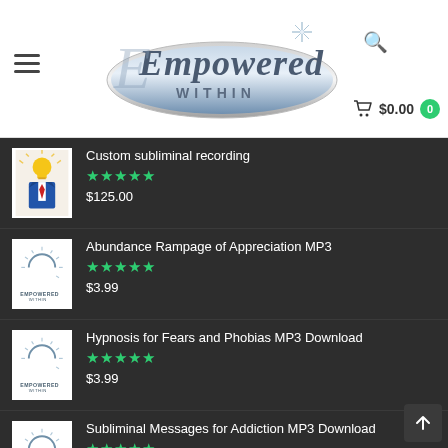[Figure (logo): Empowered Within website header with logo, hamburger menu, search icon, and cart showing $0.00]
Custom subliminal recording — Rated 5 stars — $125.00
Abundance Rampage of Appreciation MP3 — Rated 5 stars — $3.99
Hypnosis for Fears and Phobias MP3 Download — Rated 5 stars — $3.99
Subliminal Messages for Addiction MP3 Download — Rated 5 stars